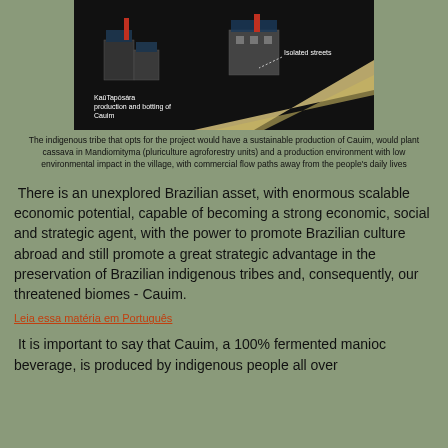[Figure (illustration): 3D architectural diagram on black background showing a village layout with buildings labeled 'KaûTapósára production and bottling of Cauim' and 'Isolated streets']
The indigenous tribe that opts for the project would have a sustainable production of Cauim, would plant cassava in Mandiomityma (pluriculture agroforestry units) and a production environment with low environmental impact in the village, with commercial flow paths away from the people's daily lives
There is an unexplored Brazilian asset, with enormous scalable economic potential, capable of becoming a strong economic, social and strategic agent, with the power to promote Brazilian culture abroad and still promote a great strategic advantage in the preservation of Brazilian indigenous tribes and, consequently, our threatened biomes - Cauim.
Leia essa matéria em Português
It is important to say that Cauim, a 100% fermented manioc beverage, is produced by indigenous people all over